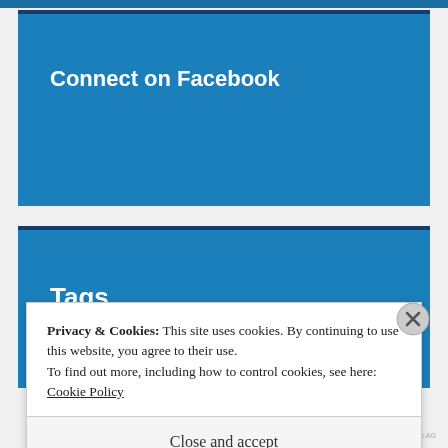Connect on Facebook
Tags
Privacy & Cookies: This site uses cookies. By continuing to use this website, you agree to their use.
To find out more, including how to control cookies, see here: Cookie Policy
Close and accept
AIRPORT-TIPS.AG